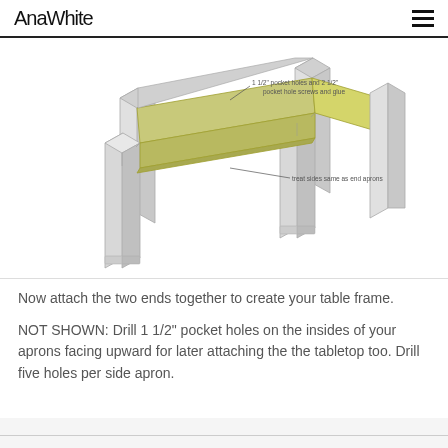AnaWhite
[Figure (engineering-diagram): Isometric woodworking diagram of a table frame showing side aprons attached to leg assemblies. Annotations read '1 1/2" pocket holes and 2 1/2" pocket hole screws and glue' and 'treat sides same as end aprons'. The aprons are highlighted in yellow-green.]
Now attach the two ends together to create your table frame.
NOT SHOWN: Drill 1 1/2" pocket holes on the insides of your aprons facing upward for later attaching the the tabletop too. Drill five holes per side apron.